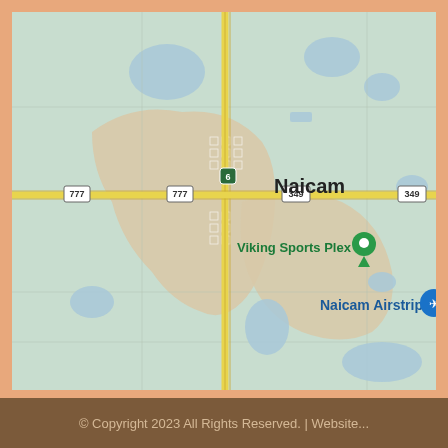[Figure (map): Google Maps screenshot showing Naicam, Saskatchewan, Canada. The map shows the small town of Naicam with roads: Highway 6 running north-south (yellow/gold), Highway 777 running east-west, and Highway 349 running east-west. Points of interest labeled include Viking Sports Plex with a green map pin, and Naicam Airstrip with a blue airplane pin. The map background is light teal/green with blue water bodies (lakes/ponds) scattered around. A beige/tan area represents the town and surrounding terrain. Grid roads are visible in the rural areas.]
© Copyright 2023 All Rights Reserved. | Website...